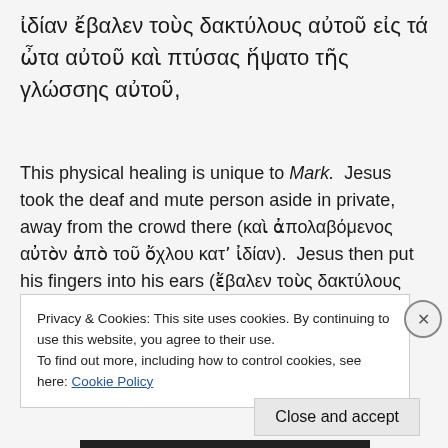ἰδίαν ἔβαλεν τοὺς δακτύλους αὐτοῦ εἰς τά ὦτα αὐτοῦ καὶ πτύσας ἥψατο τῆς γλώσσης αὐτοῦ,
This physical healing is unique to Mark. Jesus took the deaf and mute person aside in private, away from the crowd there (καὶ ἀπολαβόμενος αὐτὸν ἀπὸ τοῦ ὄχλου κατʼ ἰδίαν). Jesus then put his fingers into his ears (ἔβαλεν τοὺς δακτύλους αὐτοῦ
Privacy & Cookies: This site uses cookies. By continuing to use this website, you agree to their use.
To find out more, including how to control cookies, see here: Cookie Policy
Close and accept